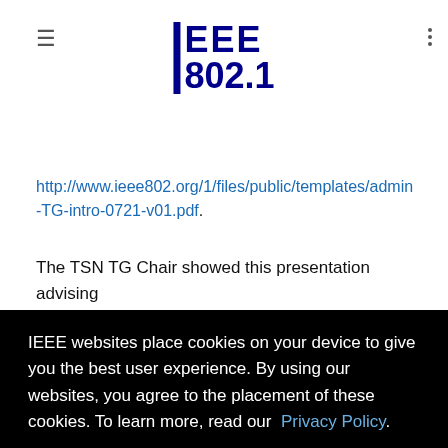IEEE 802.1
http://www.ieee802.org/1/files/public/templates/admin-TG-intro-0721-v01.pdf.
The TSN TG Chair showed this presentation advising
[Figure (screenshot): Cookie consent overlay on IEEE website. Black background with white text reading: 'IEEE websites place cookies on your device to give you the best user experience. By using our websites, you agree to the placement of these cookies. To learn more, read our Privacy Policy.' with a white 'Accept & Close' button.]
completeness or any assurance of whether any such assurance is, in fact, of a Patent Claim that is